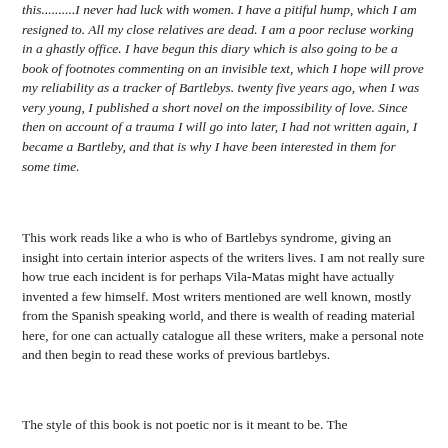this..........I never had luck with women. I have a pitiful hump, which I am resigned to. All my close relatives are dead. I am a poor recluse working in a ghastly office. I have begun this diary which is also going to be a book of footnotes commenting on an invisible text, which I hope will prove my reliability as a tracker of Bartlebys. twenty five years ago, when I was very young, I published a short novel on the impossibility of love. Since then on account of a trauma I will go into later, I had not written again, I became a Bartleby, and that is why I have been interested in them for some time.
This work reads like a who is who of Bartlebys syndrome, giving an insight into certain interior aspects of the writers lives. I am not really sure how true each incident is for perhaps Vila-Matas might have actually invented a few himself. Most writers mentioned are well known, mostly from the Spanish speaking world, and there is wealth of reading material here, for one can actually catalogue all these writers, make a personal note and then begin to read these works of previous bartlebys.
The style of this book is not poetic nor is it meant to be. The